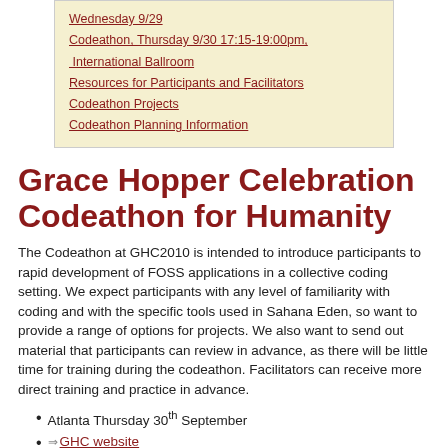Wednesday 9/29
Codeathon, Thursday 9/30 17:15-19:00pm, International Ballroom
Resources for Participants and Facilitators
Codeathon Projects
Codeathon Planning Information
Grace Hopper Celebration Codeathon for Humanity
The Codeathon at GHC2010 is intended to introduce participants to rapid development of FOSS applications in a collective coding setting. We expect participants with any level of familiarity with coding and with the specific tools used in Sahana Eden, so want to provide a range of options for projects. We also want to send out material that participants can review in advance, as there will be little time for training during the codeathon. Facilitators can receive more direct training and practice in advance.
Atlanta Thursday 30th September
GHC website
On irc: irc.freenode.net #sahana-ghc